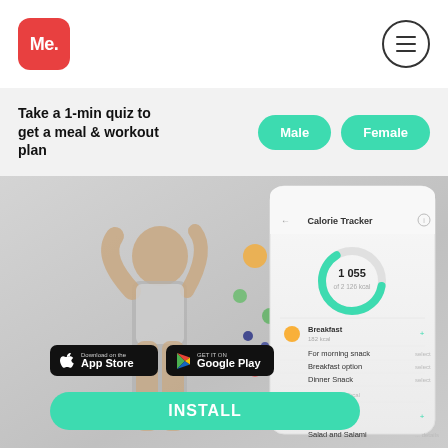[Figure (logo): Me. app logo — red rounded square with white 'Me.' text]
[Figure (infographic): Hamburger menu icon inside circle]
Take a 1-min quiz to get a meal & workout plan
[Figure (infographic): Male button (teal rounded pill)]
[Figure (infographic): Female button (teal rounded pill)]
[Figure (screenshot): Hero image showing a woman in fitness wear, colorful salad bowl, and a Calorie Tracker app screenshot showing 1,055 calories with meal entries including Breakfast, Lunch, and Salad items. App Store and Google Play download buttons plus a large teal INSTALL button at the bottom.]